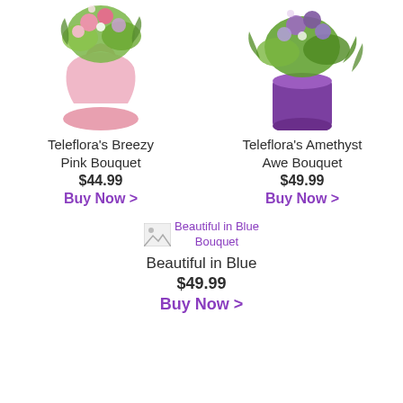[Figure (photo): Pink vase with green and pink flowers bouquet, top portion cropped — Teleflora's Breezy Pink Bouquet]
[Figure (photo): Purple cylindrical vase with green and purple flowers, top portion cropped — Teleflora's Amethyst Awe Bouquet]
Teleflora's Breezy Pink Bouquet
$44.99
Buy Now >
Teleflora's Amethyst Awe Bouquet
$49.99
Buy Now >
[Figure (photo): Broken/loading image placeholder for Beautiful in Blue Bouquet with purple alt text]
Beautiful in Blue
$49.99
Buy Now >